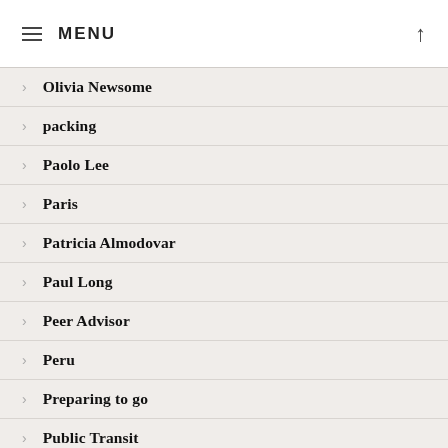≡ MENU ↑
Olivia Newsome
packing
Paolo Lee
Paris
Patricia Almodovar
Paul Long
Peer Advisor
Peru
Preparing to go
Public Transit
Race